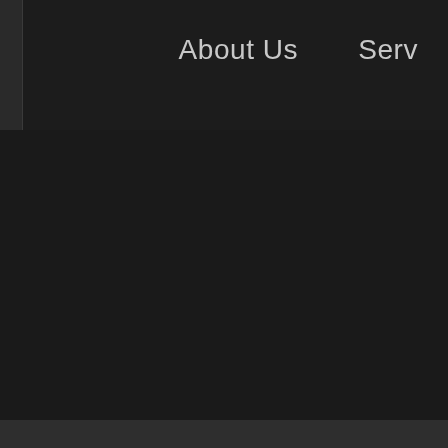About Us   Serv
[Figure (screenshot): Dark website navigation bar with logo placeholder on the left side and navigation links 'About Us' and 'Serv' (partially visible) on the right, against a dark background.]